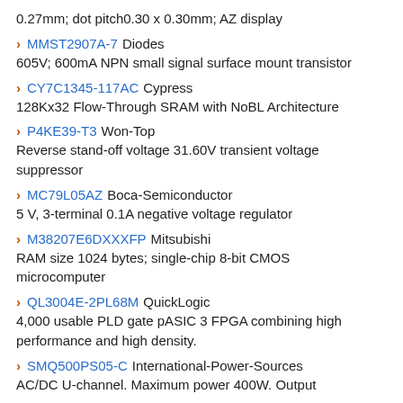0.27mm; dot pitch0.30 x 0.30mm; AZ display
MMST2907A-7 Diodes
605V; 600mA NPN small signal surface mount transistor
CY7C1345-117AC Cypress
128Kx32 Flow-Through SRAM with NoBL Architecture
P4KE39-T3 Won-Top
Reverse stand-off voltage 31.60V transient voltage suppressor
MC79L05AZ Boca-Semiconductor
5 V, 3-terminal 0.1A negative voltage regulator
M38207E6DXXXFP Mitsubishi
RAM size 1024 bytes; single-chip 8-bit CMOS microcomputer
QL3004E-2PL68M QuickLogic
4,000 usable PLD gate pASIC 3 FPGA combining high performance and high density.
SMQ500PS05-C International-Power-Sources
AC/DC U-channel. Maximum power 400W. Output